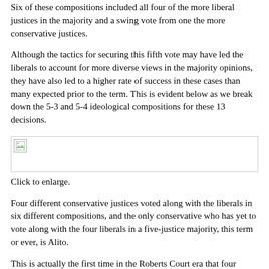Six of these compositions included all four of the more liberal justices in the majority and a swing vote from one the more conservative justices.
Although the tactics for securing this fifth vote may have led the liberals to account for more diverse views in the majority opinions, they have also led to a higher rate of success in these cases than many expected prior to the term. This is evident below as we break down the 5-3 and 5-4 ideological compositions for these 13 decisions.
[Figure (other): Placeholder image (broken/loading image icon) representing a chart to be enlarged]
Click to enlarge.
Four different conservative justices voted along with the liberals in six different compositions, and the only conservative who has yet to vote along with the four liberals in a five-justice majority, this term or ever, is Alito.
This is actually the first time in the Roberts Court era that four different conservative justices provided a swing vote to liberal majorities in 5-3 and 5-4 decisions in a term when nine justices sat